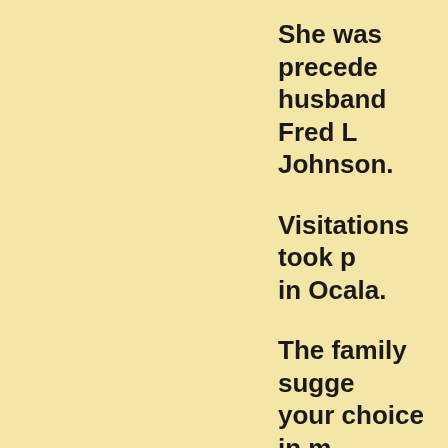She was preceded by her husband Fred L (name cut off) Johnson. Visitations took place in Ocala. The family suggests your choice in memory of the Hartle- Tarbo(ro?) PM. The funeral service at (a) Church in Smetho(rt?) Rev. Thomas Bea(n?) Burial will be in...